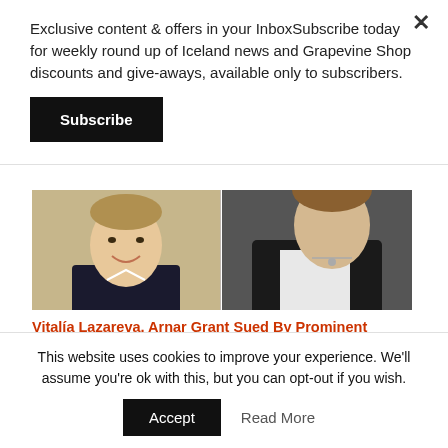Exclusive content & offers in your InboxSubscribe today for weekly round up of Iceland news and Grapevine Shop discounts and give-aways, available only to subscribers.
Subscribe
[Figure (photo): Two side-by-side photos: left shows a smiling man in a suit against a blurred office background, right shows a person in a black jacket and white shirt.]
Vitalía Lazareva, Arnar Grant Sued By Prominent Icelandic Businessmen For Attempted Extortion
[Figure (photo): Person wearing a yellow/mustard beanie hat, partially visible, against a light background.]
This website uses cookies to improve your experience. We'll assume you're ok with this, but you can opt-out if you wish.
Accept
Read More